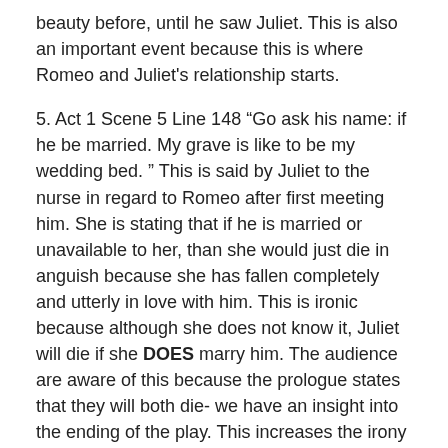beauty before, until he saw Juliet. This is also an important event because this is where Romeo and Juliet's relationship starts.
5. Act 1 Scene 5 Line 148 “Go ask his name: if he be married. My grave is like to be my wedding bed. ” This is said by Juliet to the nurse in regard to Romeo after first meeting him. She is stating that if he is married or unavailable to her, than she would just die in anguish because she has fallen completely and utterly in love with him. This is ironic because although she does not know it, Juliet will die if she DOES marry him. The audience are aware of this because the prologue states that they will both die- we have an insight into the ending of the play. This increases the irony and also touches on the idea of ‘fate’ which plays a huge part in the play and in Elizabethan times. We know what is to happen, we can do nothing to change that. This creates